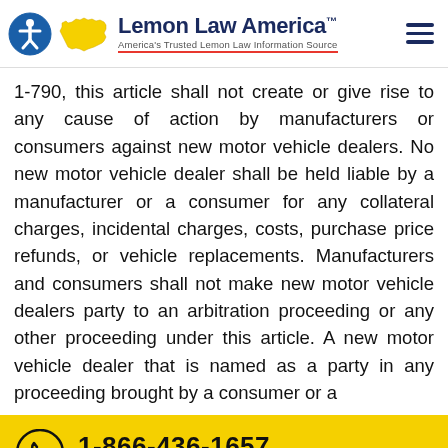Lemon Law America™ — America's Trusted Lemon Law Information Source
1-790, this article shall not create or give rise to any cause of action by manufacturers or consumers against new motor vehicle dealers. No new motor vehicle dealer shall be held liable by a manufacturer or a consumer for any collateral charges, incidental charges, costs, purchase price refunds, or vehicle replacements. Manufacturers and consumers shall not make new motor vehicle dealers party to an arbitration proceeding or any other proceeding under this article. A new motor vehicle dealer that is named as a party in any proceeding brought by a consumer or a
1-866-436-1657
CALL US
DO I HAVE A LEMON?
CLICK TO FIND OUT